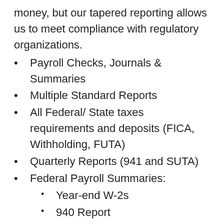money, but our tapered reporting allows us to meet compliance with regulatory organizations.
Payroll Checks, Journals & Summaries
Multiple Standard Reports
All Federal/ State taxes requirements and deposits (FICA, Withholding, FUTA)
Quarterly Reports (941 and SUTA)
Federal Payroll Summaries:
Year-end W-2s
940 Report
Garnishments
Track Vacations, Sick Pay
Compute Deductions
New Hire Reports
24/7 Internet Access
Unlimited Deductions
Regular Reports